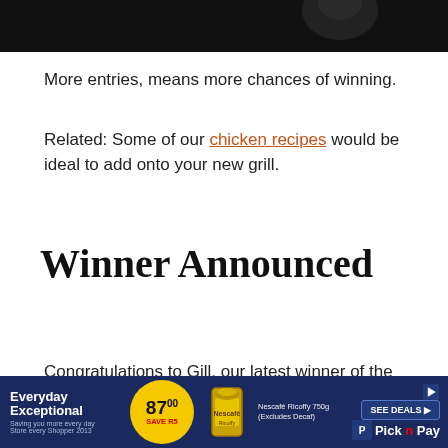[Figure (photo): Dark background partial image at top of page]
More entries, means more chances of winning.
Related: Some of our chicken recipes would be ideal to add onto your new grill.
Winner Announced
Congratulations to Gill, our latest winner of the RecipeFairy Giveaway. You're the lucky winner of this amazing [prize]. Visit us on our website this week.
[Figure (other): Pick n Pay advertisement banner: Everyday Exceptional, 87.00 Save price, Nescafe Ricoffy 750g, SEE DEALS button, Pick n Pay logo]